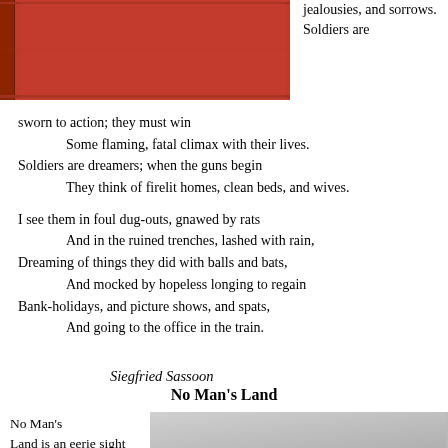[Figure (photo): Red/orange cloth-bound book spine and cover, photographed from above, occupying upper-left portion of page]
jealousies, and sorrows. Soldiers are sworn to action; they must win
     Some flaming, fatal climax with their lives.
Soldiers are dreamers; when the guns begin
     They think of firelit homes, clean beds, and wives.

I see them in foul dug-outs, gnawed by rats
     And in the ruined trenches, lashed with rain,
Dreaming of things they did with balls and bats,
     And mocked by hopeless longing to regain
Bank-holidays, and picture shows, and spats,
     And going to the office in the train.
Siegfried Sassoon
No Man's Land
No Man's Land is an eerie sight
[Figure (photo): Gray/silver colored image in the lower right portion of the page, appears to be a photograph related to No Man's Land]